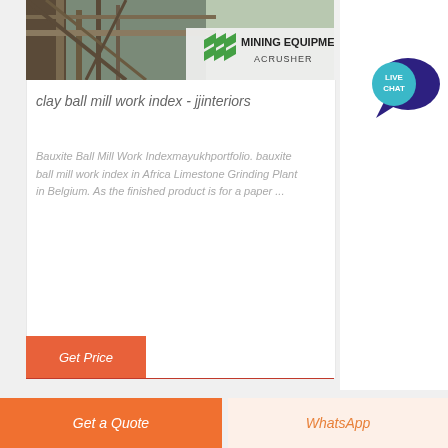[Figure (photo): Mining equipment photo with industrial metal framework/conveyor structure, overlaid with 'MINING EQUIPMENT ACRUSHER' logo with green chevron marks]
clay ball mill work index - jjinteriors
Bauxite Ball Mill Work Indexmayukhportfolio. bauxite ball mill work index in Africa Limestone Grinding Plant in Belgium. As the finished product is for a paper ...
Get Price
Get a Quote
WhatsApp